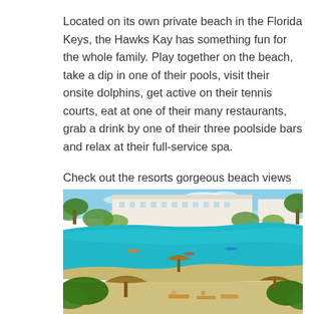Located on its own private beach in the Florida Keys, the Hawks Kay has something fun for the whole family. Play together on the beach, take a dip in one of their pools, visit their onsite dolphins, get active on their tennis courts, eat at one of their many restaurants, grab a drink by one of their three poolside bars and relax at their full-service spa.
Check out the resorts gorgeous beach views on their interactive live cam!
[Figure (photo): Aerial view of Hawks Kay resort in Florida Keys showing white hotel buildings, lush tropical greenery, a turquoise lagoon/pool area, sandy beach with thatched umbrellas and lounge chairs, and calm blue water.]